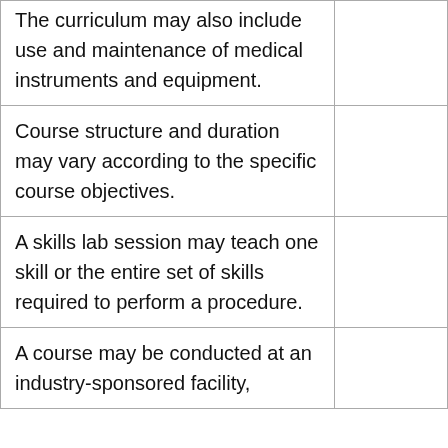| The curriculum may also include use and maintenance of medical instruments and equipment. |  |
| Course structure and duration may vary according to the specific course objectives. |  |
| A skills lab session may teach one skill or the entire set of skills required to perform a procedure. |  |
| A course may be conducted at an industry-sponsored facility, |  |